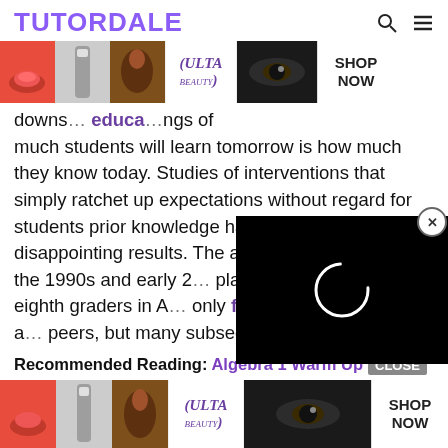TUTORDALE
[Figure (photo): ULTA beauty advertisement banner with makeup product images and SHOP NOW button]
downloads of educational things of much students will learn tomorrow is how much they know today. Studies of interventions that simply ratchet up expectations without regard for students prior knowledge have yielded disappointing results. The algebra for all policies of the 1990s and early 2000s placed many unprepared eighth graders in Algebra courses who not only failed to learn algebra at the same rate as their peers, but many subsequently took a cascade of remedial math courses that doomed them to repeated failure.
[Figure (screenshot): Video player overlay with loading spinner ring on black background, with close (X) button]
Recommended Reading: Algebra 1 Warm Up CLOSE
[Figure (photo): ULTA beauty advertisement banner with makeup images and SHOP NOW button (bottom)]
Tip